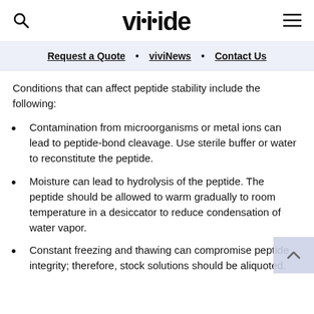vivitide
Request a Quote  •  viviNews  •  Contact Us
Conditions that can affect peptide stability include the following:
Contamination from microorganisms or metal ions can lead to peptide-bond cleavage. Use sterile buffer or water to reconstitute the peptide.
Moisture can lead to hydrolysis of the peptide. The peptide should be allowed to warm gradually to room temperature in a desiccator to reduce condensation of water vapor.
Constant freezing and thawing can compromise peptide integrity; therefore, stock solutions should be aliquoted.